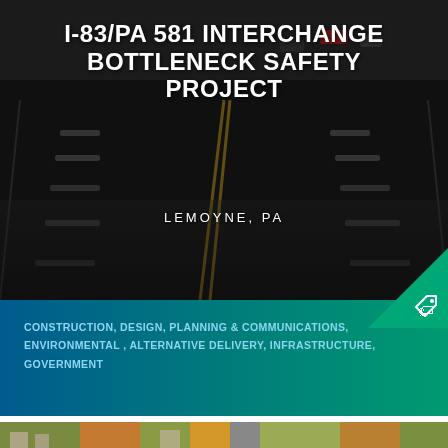[Figure (photo): Aerial/overhead view of a multi-lane highway with cars driving, dark background, used as hero image for project page]
I-83/PA 581 INTERCHANGE BOTTLENECK SAFETY PROJECT
LEMOYNE, PA
CONSTRUCTION, DESIGN, PLANNING & COMMUNICATIONS, ENVIRONMENTAL , ALTERNATIVE DELIVERY, INFRASTRUCTURE, GOVERNMENT
[Figure (photo): Aerial view of a suburban/urban area with a highway interchange, residential neighborhoods, trees with autumn foliage, and road infrastructure]